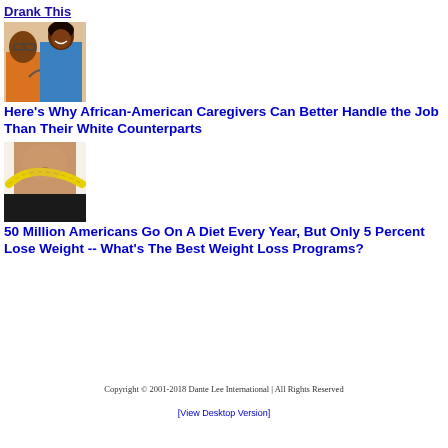Drank This
[Figure (photo): Photo of an African-American woman with glasses being cared for by a medical professional]
Here's Why African-American Caregivers Can Better Handle the Job Than Their White Counterparts
[Figure (photo): Photo of a person's midsection with a measuring tape around their waist]
50 Million Americans Go On A Diet Every Year, But Only 5 Percent Lose Weight -- What's The Best Weight Loss Programs?
Copyright © 2001-2018 Dante Lee International | All Rights Reserved
[View Desktop Version]